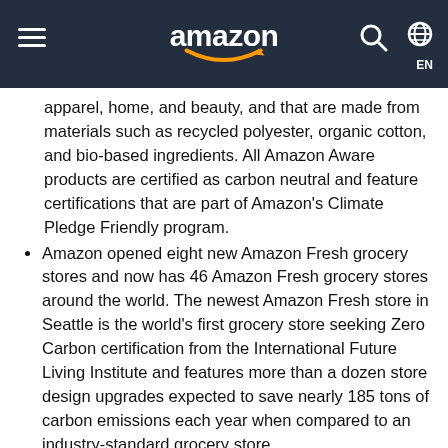amazon (navigation header with hamburger menu, search icon, globe/EN)
apparel, home, and beauty, and that are made from materials such as recycled polyester, organic cotton, and bio-based ingredients. All Amazon Aware products are certified as carbon neutral and feature certifications that are part of Amazon's Climate Pledge Friendly program.
Amazon opened eight new Amazon Fresh grocery stores and now has 46 Amazon Fresh grocery stores around the world. The newest Amazon Fresh store in Seattle is the world's first grocery store seeking Zero Carbon certification from the International Future Living Institute and features more than a dozen store design upgrades expected to save nearly 185 tons of carbon emissions each year when compared to an industry-standard grocery store.
Amazon opened a new, larger Amazon Go store format for customers in suburban areas in the U.S., with the first location in Mill Creek, Washington. The new format features Amazon's Just Walk Out technology for a checkout-free shopping experience, an expanded selection of grab-and-go food and